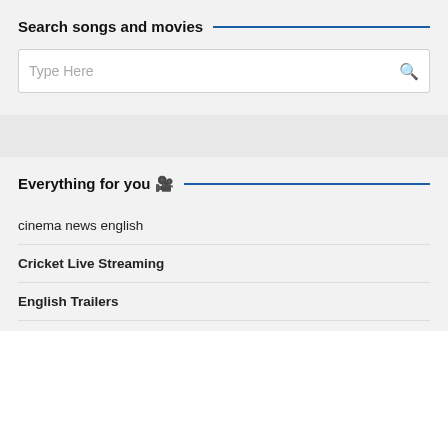Search songs and movies
[Figure (screenshot): Search input box with placeholder text 'Type Here' and a search icon on the right]
Everything for you 🎬
cinema news english
Cricket Live Streaming
English Trailers